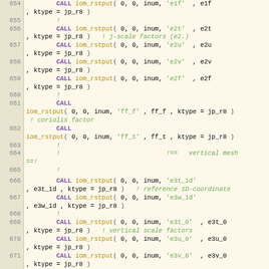[Figure (screenshot): Source code listing in Fortran-style language, lines 654–672, showing CALL iom_rstput statements with e-scale factor variable names and comments about j-scale factors, coriolis factor, vertical mesh, and vertical scale factors.]